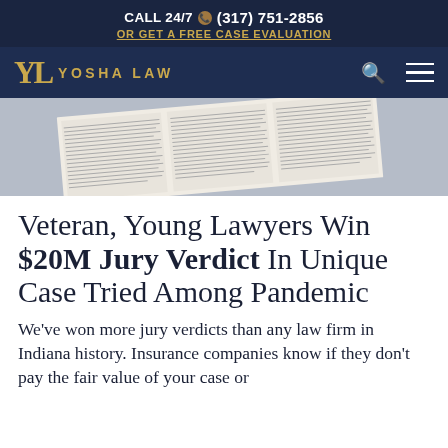CALL 24/7 (317) 751-2856 OR GET A FREE CASE EVALUATION
[Figure (logo): Yosha Law logo with YL monogram in gold and navigation bar with search and menu icons on dark navy background]
[Figure (photo): Newspaper article clipping, partially visible, with columns of text, displayed at an angle on a gray background]
Veteran, Young Lawyers Win $20M Jury Verdict In Unique Case Tried Among Pandemic
We've won more jury verdicts than any law firm in Indiana history. Insurance companies know if they don't pay the fair value of your case or